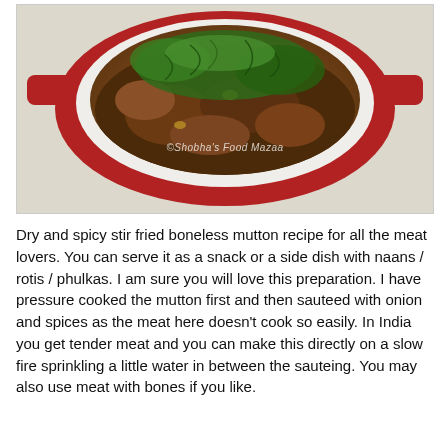[Figure (photo): A red double-handled pan/dish containing dry spicy stir fried boneless mutton garnished with fresh cilantro/coriander leaves, placed on a white lace tablecloth. Watermark reads '©Shobha's Food Mazaa'.]
Dry and spicy stir fried boneless mutton recipe for all the meat lovers. You can serve it as a snack or a side dish with naans / rotis / phulkas. I am sure you will love this preparation. I have pressure cooked the mutton first and then sauteed with onion and spices as the meat here doesn't cook so easily. In India you get tender meat and you can make this directly on a slow fire sprinkling a little water in between the sauteing. You may also use meat with bones if you like.